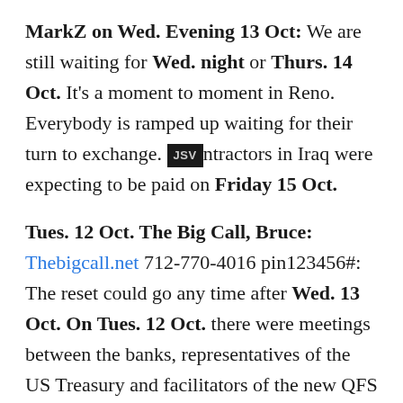MarkZ on Wed. Evening 13 Oct: We are still waiting for Wed. night or Thurs. 14 Oct. It's a moment to moment in Reno. Everybody is ramped up waiting for their turn to exchange. Contractors in Iraq were expecting to be paid on Friday 15 Oct.
Tues. 12 Oct. The Big Call, Bruce: Thebigcall.net 712-770-4016 pin123456#: The reset could go any time after Wed. 13 Oct. On Tues. 12 Oct. there were meetings between the banks, representatives of the US Treasury and facilitators of the new QFS System. The QFS was fully operational. Four countries were still